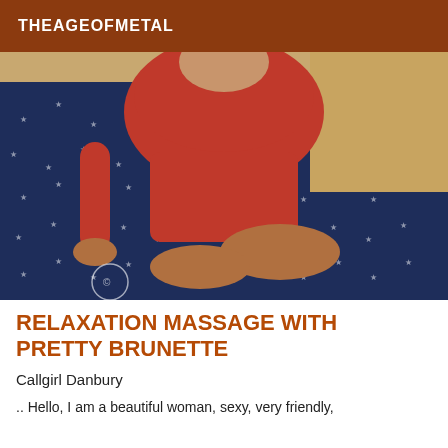THEAGEOFMETAL
[Figure (photo): A woman wearing a red two-piece outfit sitting on a dark blue star-patterned fabric surface, with a wooden floor background visible.]
RELAXATION MASSAGE WITH PRETTY BRUNETTE
Callgirl Danbury
.. Hello, I am a beautiful woman, sexy, very friendly,